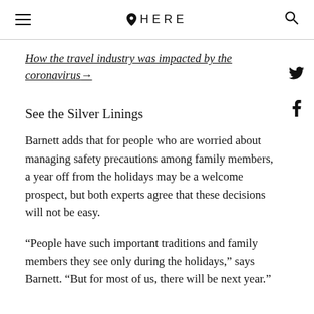HERE
How the travel industry was impacted by the coronavirus →
See the Silver Linings
Barnett adds that for people who are worried about managing safety precautions among family members, a year off from the holidays may be a welcome prospect, but both experts agree that these decisions will not be easy.
“People have such important traditions and family members they see only during the holidays,” says Barnett. “But for most of us, there will be next year.”